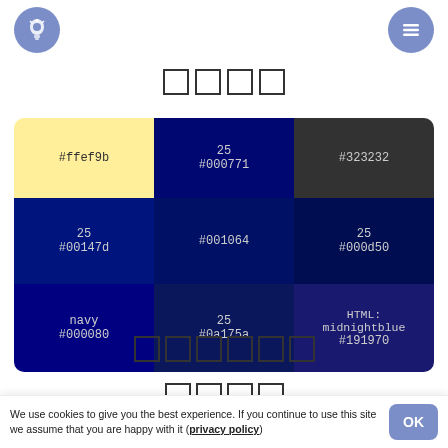[Figure (other): Lightbulb icon in a blue-grey circle, top left navigation button]
[Figure (other): Hamburger menu icon in a blue-grey circle, top right navigation button]
□□□□ (4 CJK characters, rendered as outlined squares)
| #ffef9b | 25
#000771 | #323232 |
| 25
#00147d | #001064 | 25
#000d50 |
| navy
#000080 | 25
#0a175a | HTML: midnightblue
#191970 |
□□□□□□ (6 CJK characters)
□□□□ (4 CJK characters)
We use cookies to give you the best experience. If you continue to use this site we assume that you are happy with it (privacy policy)